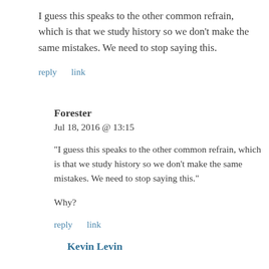I guess this speaks to the other common refrain, which is that we study history so we don’t make the same mistakes. We need to stop saying this.
reply    link
Forester
Jul 18, 2016 @ 13:15
“I guess this speaks to the other common refrain, which is that we study history so we don’t make the same mistakes. We need to stop saying this.”
Why?
reply    link
Kevin Levin